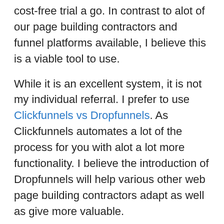cost-free trial a go. In contrast to alot of our page building contractors and funnel platforms available, I believe this is a viable tool to use.
While it is an excellent system, it is not my individual referral. I prefer to use Clickfunnels vs Dropfunnels. As Clickfunnels automates a lot of the process for you with alot a lot more functionality. I believe the introduction of Dropfunnels will help various other web page building contractors adapt as well as give more valuable.
It does take some commitment in your place to discover it all– nonetheless, it will certainly come to be less complicated as well as much easier to put together channels the extra you do it.